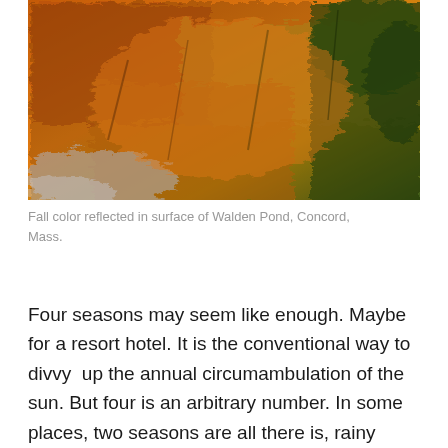[Figure (photo): Photograph of fall foliage colors (orange, green, yellow) reflected in the rippled surface of Walden Pond, Concord, Massachusetts.]
Fall color reflected in surface of Walden Pond, Concord, Mass.
Four seasons may seem like enough. Maybe for a resort hotel. It is the conventional way to divvy  up the annual circumambulation of the sun. But four is an arbitrary number. In some places, two seasons are all there is, rainy season and dry season, or in Arizona: unbearable heat, and respite from unbearable heat.